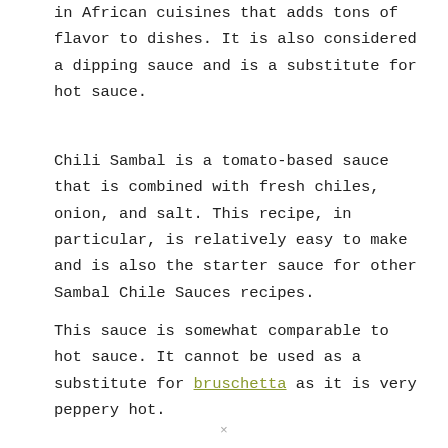in African cuisines that adds tons of flavor to dishes. It is also considered a dipping sauce and is a substitute for hot sauce.
Chili Sambal is a tomato-based sauce that is combined with fresh chiles, onion, and salt. This recipe, in particular, is relatively easy to make and is also the starter sauce for other Sambal Chile Sauces recipes.
This sauce is somewhat comparable to hot sauce. It cannot be used as a substitute for bruschetta as it is very peppery hot.
×